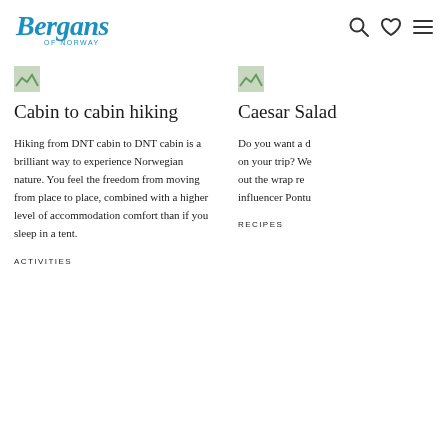Bergans of Norway
[Figure (photo): Thumbnail image placeholder for Cabin to cabin hiking article]
Cabin to cabin hiking
Hiking from DNT cabin to DNT cabin is a brilliant way to experience Norwegian nature. You feel the freedom from moving from place to place, combined with a higher level of accommodation comfort than if you sleep in a tent.
ACTIVITIES
[Figure (photo): Thumbnail image placeholder for Caesar Salad article]
Caesar Salad
Do you want a d on your trip? We out the wrap re influencer Pontu
RECIPES